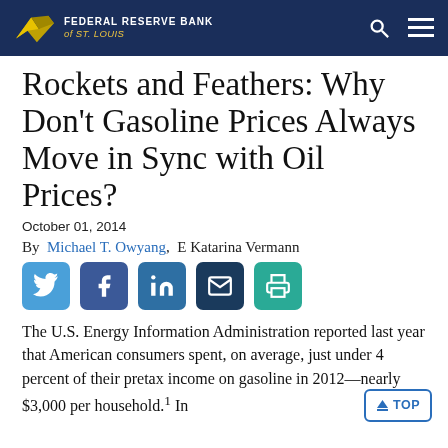FEDERAL RESERVE BANK of ST. LOUIS
Rockets and Feathers: Why Don't Gasoline Prices Always Move in Sync with Oil Prices?
October 01, 2014
By Michael T. Owyang,  E Katarina Vermann
[Figure (infographic): Social media sharing icons: Twitter, Facebook, LinkedIn, Email, Print]
The U.S. Energy Information Administration reported last year that American consumers spent, on average, just under 4 percent of their pretax income on gasoline in 2012—nearly $3,000 per household.1 In